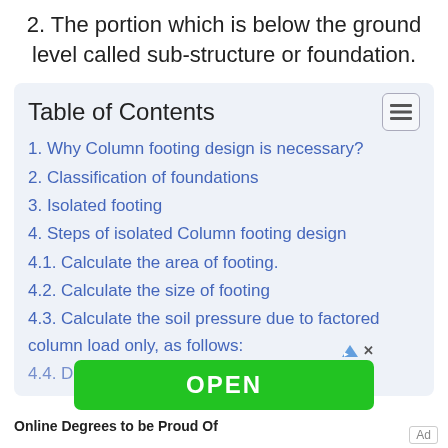2. The portion which is below the ground level called sub-structure or foundation.
Table of Contents
1. Why Column footing design is necessary?
2. Classification of foundations
3. Isolated footing
4. Steps of isolated Column footing design
4.1. Calculate the area of footing.
4.2. Calculate the size of footing
4.3. Calculate the soil pressure due to factored column load only, as follows:
4.4. Depth of footing is calculated by the
Online Degrees to be Proud Of
Ad